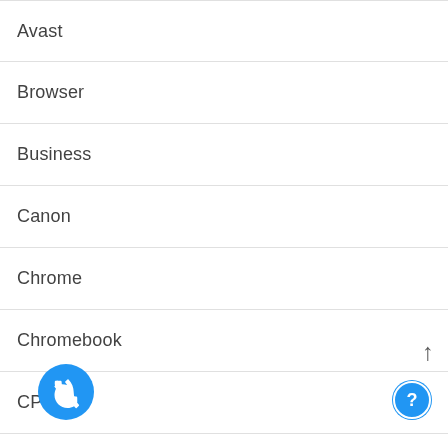Avast
Browser
Business
Canon
Chrome
Chromebook
CPU
C…